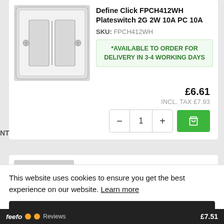Define Click FPCH412WH Plateswitch 2G 2W 10A PC 10A
SKU: FPCH412WH
*AVAILABLE TO ORDER FOR DELIVERY IN 3-4 WORKING DAYS
£6.61
INCL. TAX £7.93
[Figure (screenshot): Quantity selector with minus, 1, plus buttons and green Add to Cart button with cart icon]
Define Click FPCH413WH
This website uses cookies to ensure you get the best experience on our website. Learn more
Allow cookies
feefo Reviews £7.51